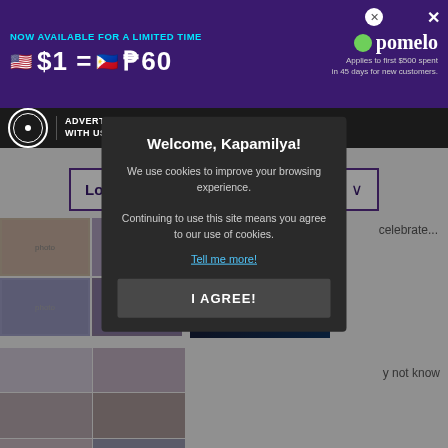[Figure (screenshot): Purple advertisement banner for Pomelo showing $1 = ₱60 exchange rate offer]
[Figure (screenshot): Black navigation bar with ABS-CBN logo and Advertise With Us text]
Love in 40 Days Gallery
[Figure (photo): Grid of celebrity photo thumbnails from Kapamilya Snaps]
celebrate...
[Figure (photo): Grid of multiple celebrity photo thumbnails]
y not know
[Figure (photo): Row of celebrity portrait photos]
cheesy and witty ...
Welcome, Kapamilya!

We use cookies to improve your browsing experience.

Continuing to use this site means you agree to our use of cookies.

Tell me more!

I AGREE!